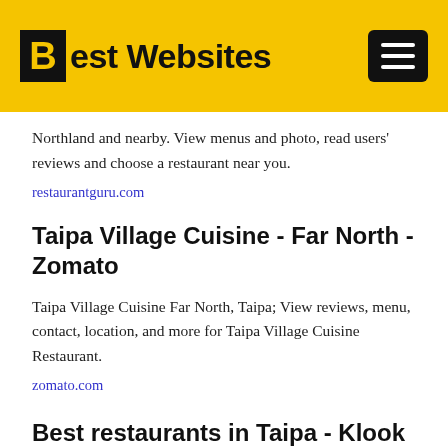Best Websites
Northland and nearby. View menus and photo, read users' reviews and choose a restaurant near you.
restaurantguru.com
Taipa Village Cuisine - Far North - Zomato
Taipa Village Cuisine Far North, Taipa; View reviews, menu, contact, location, and more for Taipa Village Cuisine Restaurant.
zomato.com
Best restaurants in Taipa - Klook